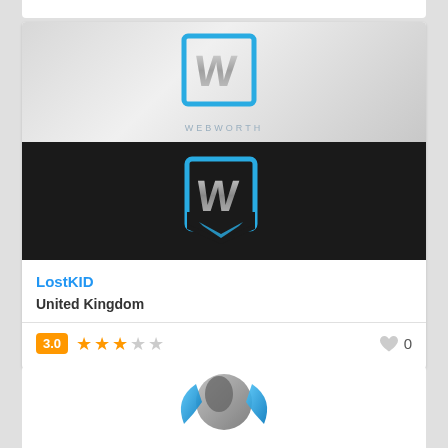[Figure (logo): WEBWORTH logo on light grey gradient background - blue and silver W lettermark with text WEBWORTH below]
[Figure (logo): WEBWORTH logo on dark/black background - blue and silver W lettermark in square frame]
LostKID
United Kingdom
3.0 rating, 3 filled stars, 2 empty stars, 0 likes
[Figure (logo): Globe/shield logo partially visible at bottom - blue and silver world shield emblem]